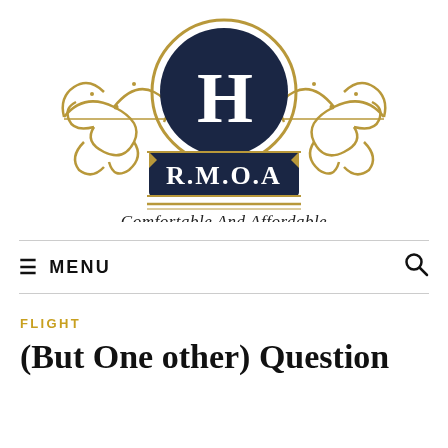[Figure (logo): H.R.M.O.A logo — dark navy circle with large 'H' in white serif font, surrounded by gold ornamental scrollwork, with a dark navy rectangular banner below reading 'R.M.O.A' in white serif letters, and a horizontal gold double line below, and italic script tagline 'Comfortable And Affordable']
≡ MENU
FLIGHT
(But One other) Question